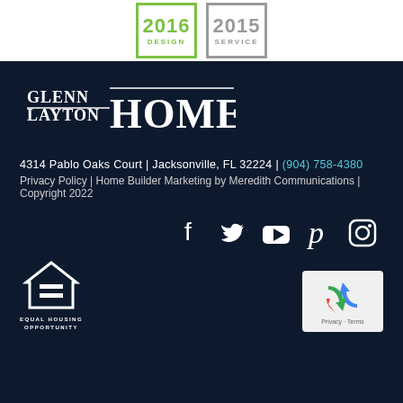[Figure (logo): 2016 Design award badge (green border) and 2015 Service award badge (gray border) side by side]
[Figure (logo): Glenn Layton Homes white logo on dark navy background]
4314 Pablo Oaks Court | Jacksonville, FL 32224 | (904) 758-4380
Privacy Policy | Home Builder Marketing by Meredith Communications | Copyright 2022
[Figure (infographic): Social media icons: Facebook, Twitter, YouTube, Pinterest, Instagram — white on dark navy]
[Figure (logo): Equal Housing Opportunity logo (white) with text EQUAL HOUSING OPPORTUNITY]
[Figure (other): Google reCAPTCHA widget showing recycling arrows icon and Privacy - Terms text]